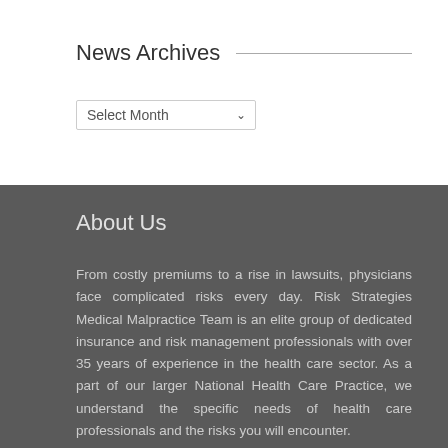News Archives
[Figure (other): Select Month dropdown widget]
About Us
From costly premiums to a rise in lawsuits, physicians face complicated risks every day. Risk Strategies Medical Malpractice Team is an elite group of dedicated insurance and risk management professionals with over 35 years of experience in the health care sector. As a part of our larger National Health Care Practice, we understand the specific needs of health care professionals and the risks you will encounter.